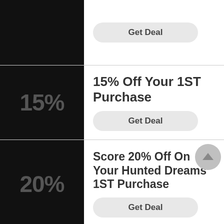[Figure (other): Black tile with no visible text (top partial row)]
Get Deal
[Figure (other): Black tile with '15%' text in dark gray]
15% Off Your 1ST Purchase
Get Deal
[Figure (other): Black tile with '20%' text in dark gray]
Score 20% Off On Your Hunted Dreams 1ST Purchase
Get Deal
[Figure (other): Black tile for 'Deal Of The Day' row (partial)]
Deal Of The Day Extra 25% Off Your